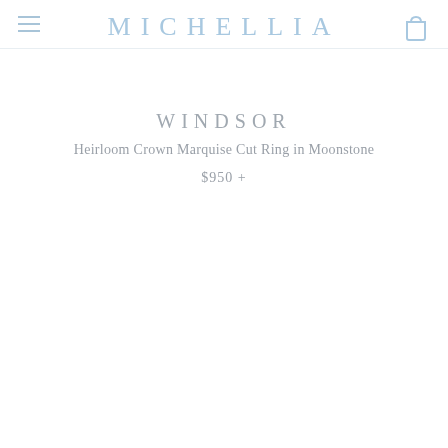MICHELLIA
WINDSOR
Heirloom Crown Marquise Cut Ring in Moonstone
$950 +